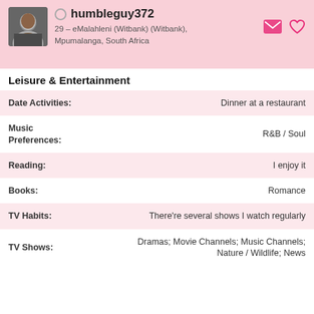humbleguy372
29 – eMalahleni (Witbank) (Witbank), Mpumalanga, South Africa
Leisure & Entertainment
| Field | Value |
| --- | --- |
| Date Activities: | Dinner at a restaurant |
| Music Preferences: | R&B / Soul |
| Reading: | I enjoy it |
| Books: | Romance |
| TV Habits: | There're several shows I watch regularly |
| TV Shows: | Dramas; Movie Channels; Music Channels; Nature / Wildlife; News |